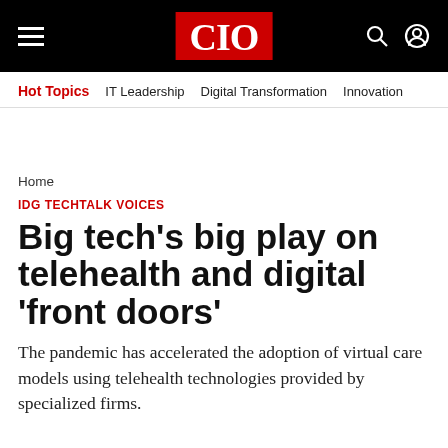CIO
Hot Topics  IT Leadership  Digital Transformation  Innovation
Home
IDG TECHTALK VOICES
Big tech's big play on telehealth and digital 'front doors'
The pandemic has accelerated the adoption of virtual care models using telehealth technologies provided by specialized firms.